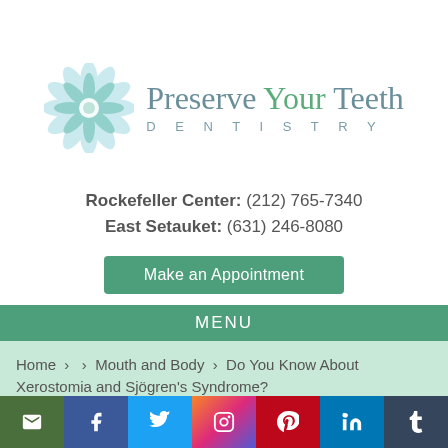[Figure (logo): Preserve Your Teeth Dentistry logo with teal flower mandala graphic and text]
Rockefeller Center: (212) 765-7340
East Setauket: (631) 246-8080
Make an Appointment
MENU
Home › › Mouth and Body › Do You Know About Xerostomia and Sjögren's Syndrome?
[Figure (infographic): Social media icons bar: email, Facebook, Twitter, Instagram, Pinterest, LinkedIn, Tumblr]